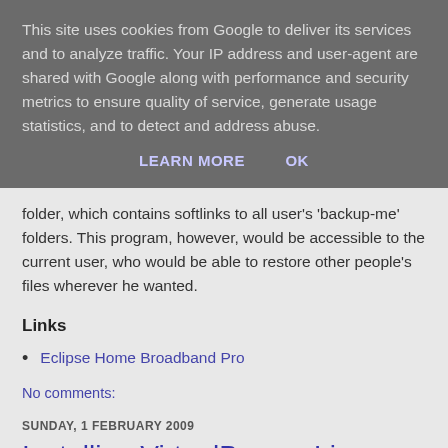This site uses cookies from Google to deliver its services and to analyze traffic. Your IP address and user-agent are shared with Google along with performance and security metrics to ensure quality of service, generate usage statistics, and to detect and address abuse.
LEARN MORE   OK
folder, which contains softlinks to all user's 'backup-me' folders. This program, however, would be accessible to the current user, who would be able to restore other people's files wherever he wanted.
Links
Eclipse Home Broadband Pro
No comments:
SUNDAY, 1 FEBRUARY 2009
Installing VirtualBox on Linux Mandriva